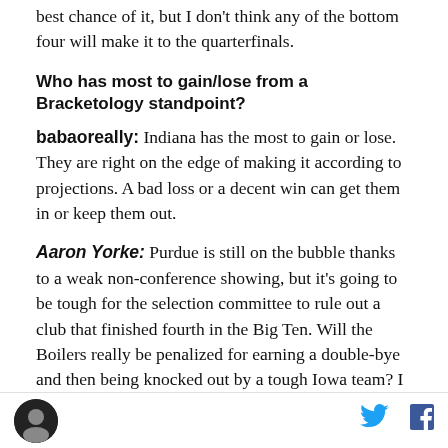best chance of it, but I don't think any of the bottom four will make it to the quarterfinals.
Who has most to gain/lose from a Bracketology standpoint?
babaoreally: Indiana has the most to gain or lose. They are right on the edge of making it according to projections. A bad loss or a decent win can get them in or keep them out.
Aaron Yorke: Purdue is still on the bubble thanks to a weak non-conference showing, but it's going to be tough for the selection committee to rule out a club that finished fourth in the Big Ten. Will the Boilers really be penalized for earning a double-bye and then being knocked out by a tough Iowa team? I think Indiana has